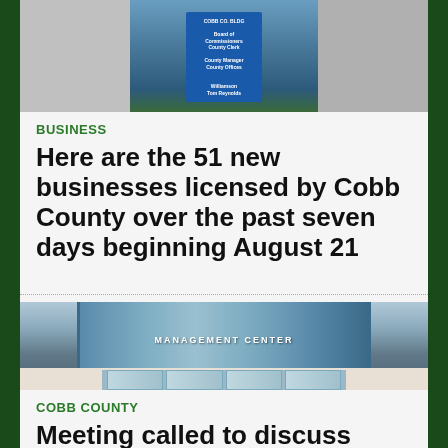[Figure (photo): Three-panel image strip: left panel is a light gray placeholder, center panel shows a blue sign for Cobb County Building with Board of Commissioners and County Manager listings in front of shrubbery, right panel is a light gray placeholder.]
BUSINESS
Here are the 51 new businesses licensed by Cobb County over the past seven days beginning August 21
[Figure (photo): Exterior photo of a government or civic center building with large glass facade windows and signage reading 'CENTER' across the front, with glass doors at the entrance.]
COBB COUNTY
Meeting called to discuss complaints about waste management company service in